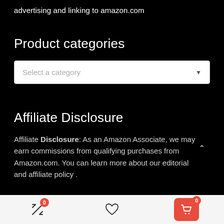advertising and linking to amazon.com
Product categories
[Figure (screenshot): Dropdown selector with placeholder text 'Select a category' and a downward arrow on a white background]
Affiliate Disclosure
Affiliate Disclosure: As an Amazon Associate, we may earn commissions from qualifying purchases from Amazon.com. You can learn more about our editorial and affiliate policy .
[Figure (screenshot): Mobile bottom navigation bar with three icons: a compare/shuffle icon with badge 0, a heart/wishlist icon, and a red cart button with badge 0]